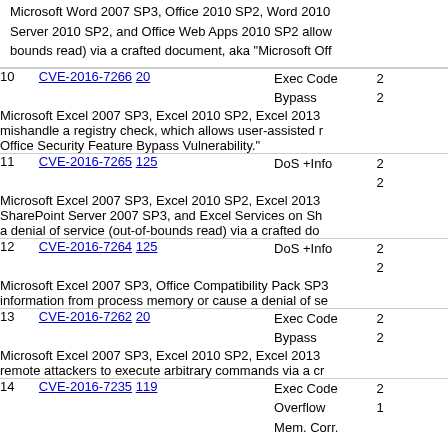Microsoft Word 2007 SP3, Office 2010 SP2, Word 2010 Server 2010 SP2, and Office Web Apps 2010 SP2 allow bounds read) via a crafted document, aka "Microsoft Off
| # | CVE | Type | Score |
| --- | --- | --- | --- |
| 10 | CVE-2016-7266  20 | Exec Code
Bypass | 2
2 |
|  | Microsoft Excel 2007 SP3, Excel 2010 SP2, Excel 2013 mishandle a registry check, which allows user-assisted r Office Security Feature Bypass Vulnerability. |  |  |
| 11 | CVE-2016-7265  125 | DoS +Info | 2
2 |
|  | Microsoft Excel 2007 SP3, Excel 2010 SP2, Excel 2013 SharePoint Server 2007 SP3, and Excel Services on Sh a denial of service (out-of-bounds read) via a crafted do |  |  |
| 12 | CVE-2016-7264  125 | DoS +Info | 2
2 |
|  | Microsoft Excel 2007 SP3, Office Compatibility Pack SP3 information from process memory or cause a denial of se |  |  |
| 13 | CVE-2016-7262  20 | Exec Code
Bypass | 2
2 |
|  | Microsoft Excel 2007 SP3, Excel 2010 SP2, Excel 2013 remote attackers to execute arbitrary commands via a cr |  |  |
| 14 | CVE-2016-7235  119 | Exec Code
Overflow
Mem. Corr. | 2
1
 |